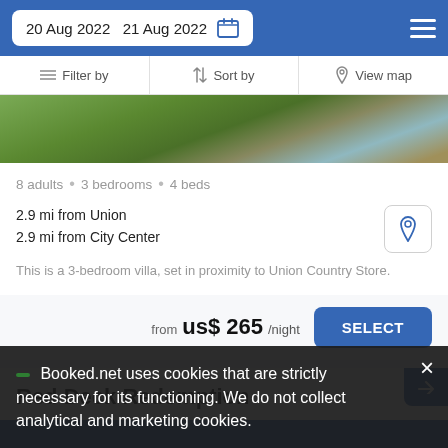20 Aug 2022  21 Aug 2022
Filter by  Sort by  View map
[Figure (photo): Outdoor garden/patio area with greenery and chairs viewed from above]
8 adults · 3 bedrooms · 4 beds
2.9 mi from Union
2.9 mi from City Center
This is a 3-bedroom villa, set in proximity to Union Country Store.
from us$ 265/night
Red Deck Redemption
Booked.net uses cookies that are strictly necessary for its functioning. We do not collect analytical and marketing cookies.